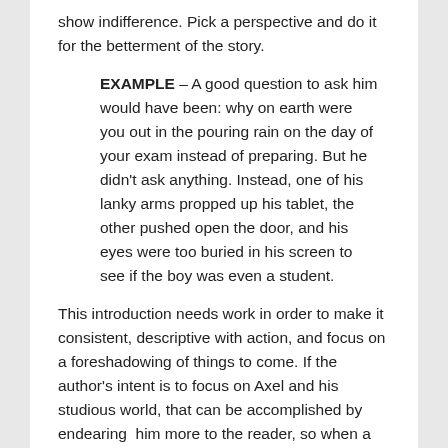show indifference. Pick a perspective and do it for the betterment of the story.
EXAMPLE – A good question to ask him would have been: why on earth were you out in the pouring rain on the day of your exam instead of preparing. But he didn't ask anything. Instead, one of his lanky arms propped up his tablet, the other pushed open the door, and his eyes were too buried in his screen to see if the boy was even a student.
This introduction needs work in order to make it consistent, descriptive with action, and focus on a foreshadowing of things to come. If the author's intent is to focus on Axel and his studious world, that can be accomplished by endearing  him more to the reader, so when a fake student gets him to open a security door, the reader is rooting for him. But the author would need to get deeply into Axel overachieving head and give him some traits we can identify with. Opening a door to a drenched student might be understandable if the proper groundwork